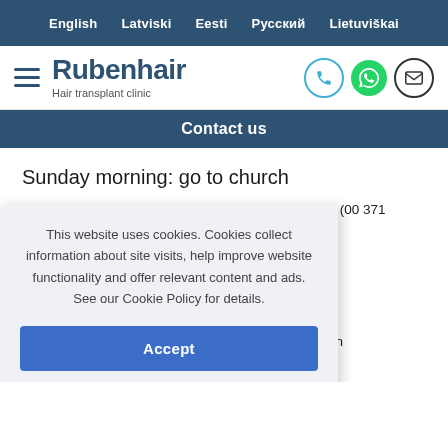English  Latviski  Eesti  Русский  Lietuviškai
Rubenhair – Hair transplant clinic
Contact us
Sunday morning: go to church
Riga's magnificent brick cathedral on Doma laukums (00 371 ... 0, except for ... Latvia. It was ... no established ... t for the first ... n Sundays, and organ recitals on Wednesdays and Saturdays at noon
This website uses cookies. Cookies collect information about site visits, help improve website functionality and offer relevant content and ads. See our Cookie Policy for details.
Accept